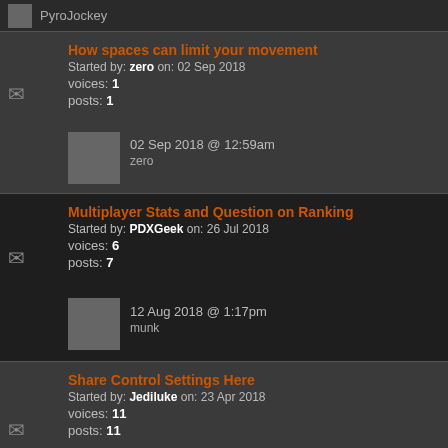PyroJockey
How spaces can limit your movement
Started by: zero on: 02 Sep 2018
Voices: 1  Posts: 1
02 Sep 2018 @ 12:59am  zero
Multiplayer Stats and Question on Ranking
Started by: PDXGeek on: 26 Jul 2018
Voices: 6  Posts: 7
12 Aug 2018 @ 1:17pm  munk
Share Control Settings Here
Started by: Jediluke on: 23 Apr 2018
Voices: 11  Posts: 11
26 Jul 2018 @ 9:23am  PDXGeek
Thought on Multiplayer Balance